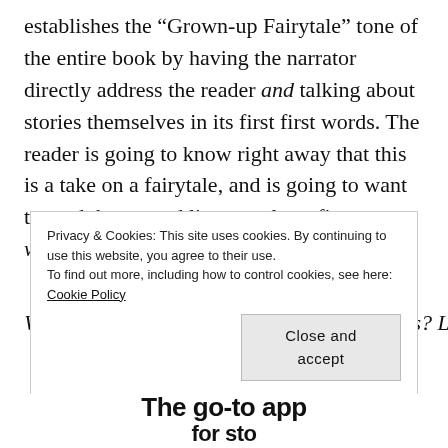establishes the “Grown-up Fairytale” tone of the entire book by having the narrator directly address the reader and talking about stories themselves in its first first words. The reader is going to know right away that this is a take on a fairytale, and is going to want to read the second line to at least figure out which fairytale is being spun here.
What are some of your favorite opening lines? Let me
Privacy & Cookies: This site uses cookies. By continuing to use this website, you agree to their use.
To find out more, including how to control cookies, see here: Cookie Policy
Close and accept
The go-to app for sto...